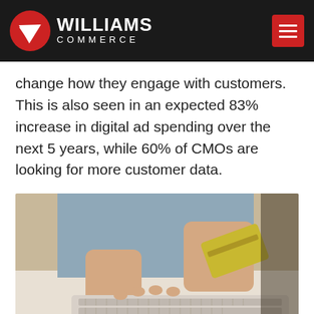Williams Commerce
change how they engage with customers. This is also seen in an expected 83% increase in digital ad spending over the next 5 years, while 60% of CMOs are looking for more customer data.
[Figure (photo): Person holding a credit card in one hand while typing on a white keyboard with the other hand, seated at a white desk.]